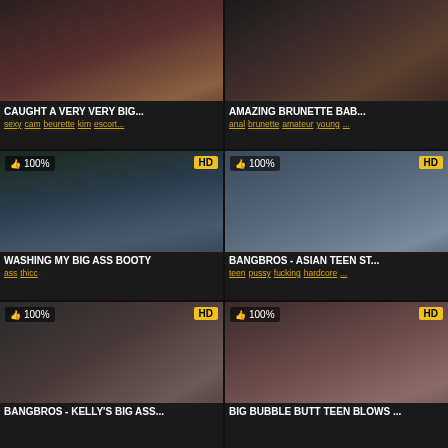[Figure (screenshot): Video thumbnail grid showing 6 adult video cards with titles, tags, view counts, duration badges]
CAUGHT A VERY VERY BIG...
sexy cam beurette kim escort...
AMAZING BRUNETTE BAB...
anal brunette amateur young ...
Washing my big ass booty
ass thicc
BANGBROS - Asian Teen St...
teen pussy fucking hardcore ...
BANGBROS - Kelly's Big Ass...
Big Bubble Butt Teen Blows ...